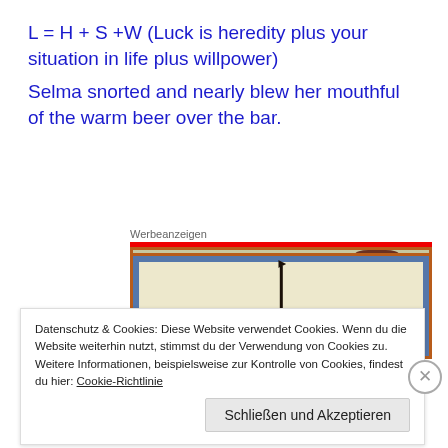L = H + S +W (Luck is heredity plus your situation in life plus willpower)
Selma snorted and nearly blew her mouthful of the warm beer over the bar.
Werbeanzeigen
[Figure (photo): Partial view of a medieval illuminated manuscript image showing a red boat/vessel with a dark sail, framed with an orange-red border and blue outer border, on a cream background.]
Datenschutz & Cookies: Diese Website verwendet Cookies. Wenn du die Website weiterhin nutzt, stimmst du der Verwendung von Cookies zu. Weitere Informationen, beispielsweise zur Kontrolle von Cookies, findest du hier: Cookie-Richtlinie
Schließen und Akzeptieren